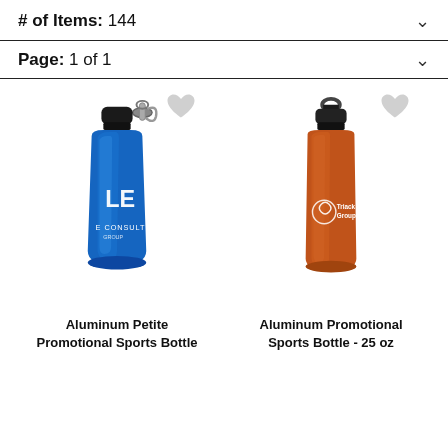# of Items: 144
Page: 1 of 1
[Figure (photo): Blue aluminum petite promotional sports bottle with carabiner clip, branded with E Consulting logo]
[Figure (photo): Orange aluminum promotional sports bottle 25 oz, branded with Triack Group logo]
Aluminum Petite Promotional Sports Bottle
Aluminum Promotional Sports Bottle - 25 oz